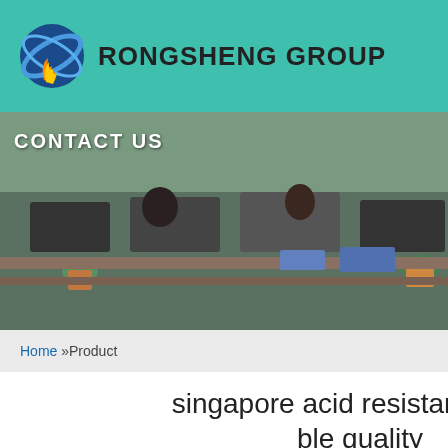RONGSHENG GROUP
[Figure (photo): Office environment with employees at desks and plants, labeled CONTACT US]
[Figure (photo): 24/7 Online customer service agent photo with headset, Click here for free chat! QUOTATION button]
Home »Product
singapore acid resistant castable quality
Just fill in the form below, click submit, you will get the price list, and we will contact you within one working day. Please also feel free to contact us via email or phone. (* is required).
Name: